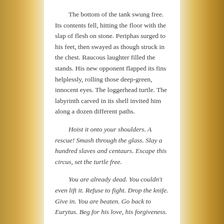The bottom of the tank swung free. Its contents fell, hitting the floor with the slap of flesh on stone. Periphas surged to his feet, then swayed as though struck in the chest. Raucous laughter filled the stands. His new opponent flapped its fins helplessly, rolling those deep-green, innocent eyes. The loggerhead turtle. The labyrinth carved in its shell invited him along a dozen different paths.
Hoist it onto your shoulders. A rescue! Smash through the glass. Slay a hundred slaves and centaurs. Escape this circus, set the turtle free.
You are already dead. You couldn't even lift it. Refuse to fight. Drop the knife. Give in. You are beaten. Go back to Eurytus. Beg for his love, his forgiveness.
The knife slid to the tips of his fingers.